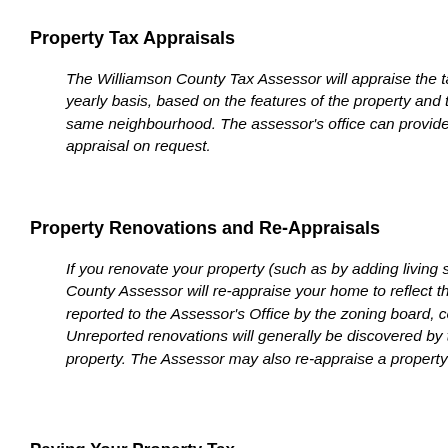Property Tax Appraisals
The Williamson County Tax Assessor will appraise the taxable value of your property on a yearly basis, based on the features of the property and the fair market value of similar properties in the same neighbourhood. The assessor's office can provide you with a copy of your property's tax appraisal on request.
Property Renovations and Re-Appraisals
If you renovate your property (such as by adding living space, bedrooms, or bathrooms), the County Assessor will re-appraise your home to reflect the value of these improvements. Renovations are reported to the Assessor's Office by the zoning board, contractors, or by the property owner. Unreported renovations will generally be discovered by the Assessor during routine inspections of the property. The Assessor may also re-appraise a property in the event of a sale or transfer.
Paying Your Property Tax
The Williamson County Tax Assessor can provide you with a copy of your property tax bill, help you pay your property taxes, or arrange a payment plan. Payments may be to the county tax collector or treasurer instead of the assessor.
Homestead Exemptions